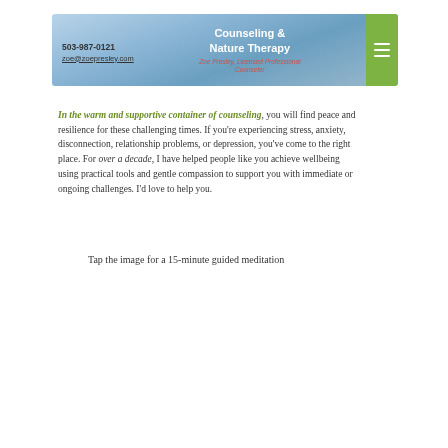503-987-0121 | zoe@zoepresley.com | Counseling & Nature Therapy | Zoe Presley, Licensed Professional Counselor
In the warm and supportive container of counseling, you will find peace and resilience for these challenging times. If you're experiencing stress, anxiety, disconnection, relationship problems, or depression, you've come to the right place. For over a decade, I have helped people like you achieve wellbeing using practical tools and gentle compassion to support you with immediate or ongoing challenges. I'd love to help you.
Tap the image for a 15-minute guided meditation